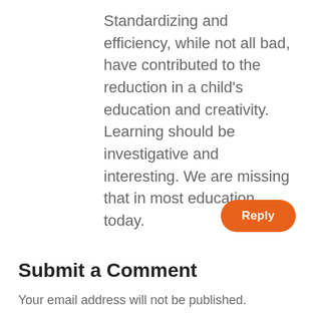Standardizing and efficiency, while not all bad, have contributed to the reduction in a child's education and creativity. Learning should be investigative and interesting. We are missing that in most education today.
Reply
Submit a Comment
Your email address will not be published. Required fields are